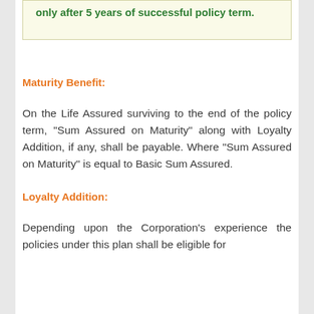only after 5 years of successful policy term.
Maturity Benefit:
On the Life Assured surviving to the end of the policy term, "Sum Assured on Maturity" along with Loyalty Addition, if any, shall be payable. Where "Sum Assured on Maturity" is equal to Basic Sum Assured.
Loyalty Addition:
Depending upon the Corporation's experience the policies under this plan shall be eligible for